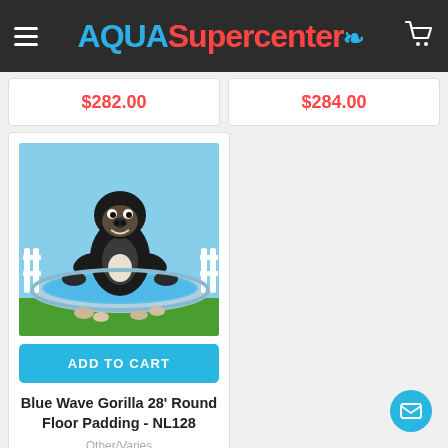AQUASupercenter
$282.00
$284.00
[Figure (illustration): Blue Wave Gorilla product illustration showing an animated gorilla standing in a round above-ground pool with blue water and green grass background]
ADD TO CART
Blue Wave Gorilla 28' Round Floor Padding - NL128
Other/Varies